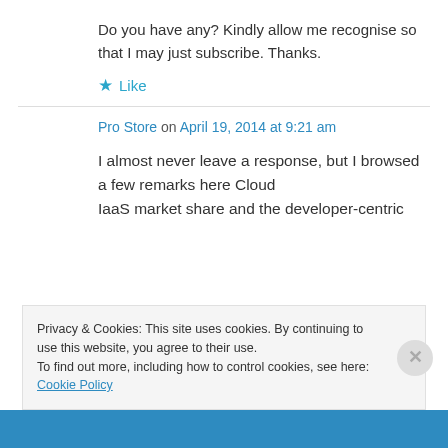Do you have any? Kindly allow me recognise so that I may just subscribe. Thanks.
★ Like
Pro Store on April 19, 2014 at 9:21 am
I almost never leave a response, but I browsed a few remarks here Cloud IaaS market share and the developer-centric
Privacy & Cookies: This site uses cookies. By continuing to use this website, you agree to their use.
To find out more, including how to control cookies, see here: Cookie Policy
Close and accept